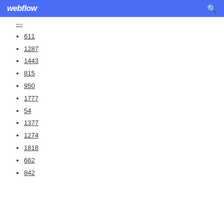webflow
---
611
1287
1443
815
950
1777
54
1377
1274
1818
662
842